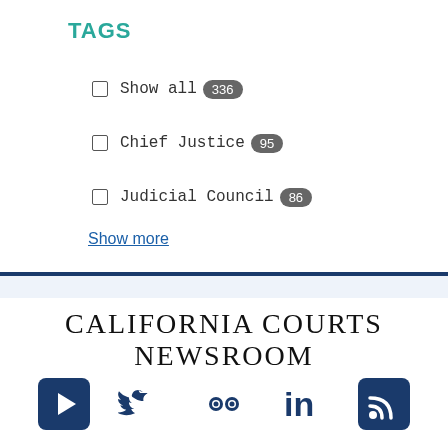TAGS
Show all 336
Chief Justice 95
Judicial Council 86
Show more
CALIFORNIA COURTS NEWSROOM
[Figure (infographic): Social media icons row: YouTube, Twitter, Flickr, LinkedIn, RSS feed]